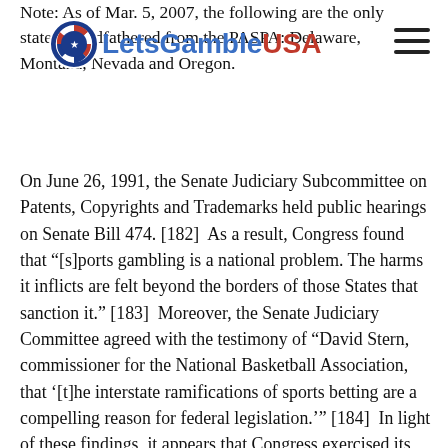Note: As of Mar. 5, 2007, the following are the only states grandfathered from the PASPA: Delaware, Montana, Nevada and Oregon.
[Figure (logo): LetsGambleUSA logo with poker chip icon and text 'LetsGambleUSA' and hamburger menu icon]
On June 26, 1991, the Senate Judiciary Subcommittee on Patents, Copyrights and Trademarks held public hearings on Senate Bill 474. [182]  As a result, Congress found that “[s]ports gambling is a national problem. The harms it inflicts are felt beyond the borders of those States that sanction it.” [183]  Moreover, the Senate Judiciary Committee agreed with the testimony of “David Stern, commissioner for the National Basketball Association, that ‘[t]he interstate ramifications of sports betting are a compelling reason for federal legislation.’” [184]  In light of these findings, it appears that Congress exercised its authority under the Commerce Clause [185] to enact the